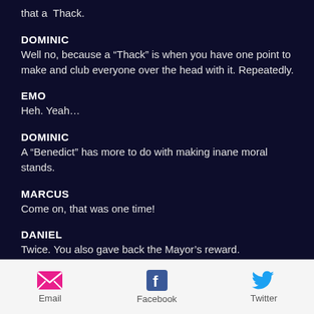that a  Thack.
DOMINIC
Well no, because a “Thack” is when you have one point to make and club everyone over the head with it. Repeatedly.
EMO
Heh. Yeah…
DOMINIC
A “Benedict” has more to do with making inane moral stands.
MARCUS
Come on, that was one time!
DANIEL
Twice. You also gave back the Mayor’s reward.
MARCUS
Oh yeah. Well then what’s a Caelus?
Email  Facebook  Twitter